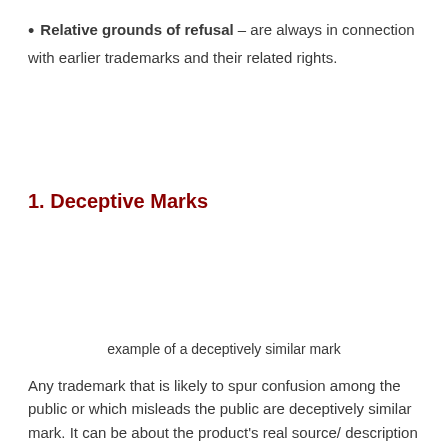Relative grounds of refusal – are always in connection with earlier trademarks and their related rights.
1. Deceptive Marks
example of a deceptively similar mark
Any trademark that is likely to spur confusion among the public or which misleads the public are deceptively similar mark. It can be about the product's real source/ description between the related goods or services, its